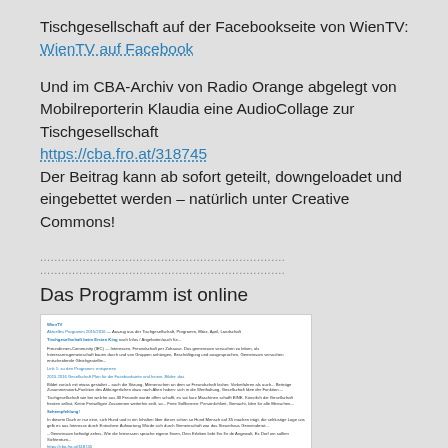Tischgesellschaft auf der Facebookseite von WienTV: WienTV auf Facebook
Und im CBA-Archiv von Radio Orange abgelegt von Mobilreporterin Klaudia eine AudioCollage zur Tischgesellschaft
https://cba.fro.at/318745
Der Beitrag kann ab sofort geteilt, downgeloadet und eingebettet werden – natürlich unter Creative Commons!
.....................................................................
.....................................................................
Das Programm ist online
[Figure (screenshot): Thumbnail of a document/webpage with small text and blue links, showing program details]